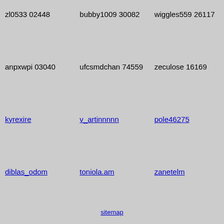zl0533 02448
bubby1009 30082
wiggles559 26117
anpxwpi 03040
ufcsmdchan 74559
zeculose 16169
kyrexire
v_artinnnnn
pole46275
diblas_odom
toniola.am
zanetelm
sitemap